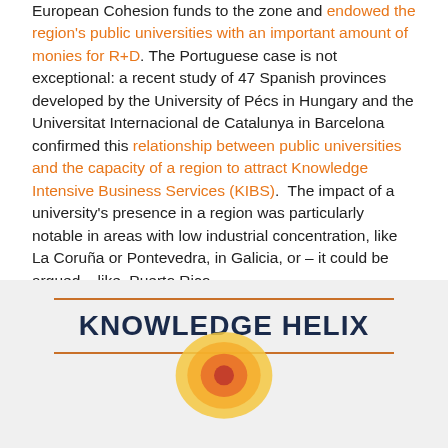European Cohesion funds to the zone and endowed the region's public universities with an important amount of monies for R+D. The Portuguese case is not exceptional: a recent study of 47 Spanish provinces developed by the University of Pécs in Hungary and the Universitat Internacional de Catalunya in Barcelona confirmed this relationship between public universities and the capacity of a region to attract Knowledge Intensive Business Services (KIBS). The impact of a university's presence in a region was particularly notable in areas with low industrial concentration, like La Coruña or Pontevedra, in Galicia, or – it could be argued – like Puerto Rico.
[Figure (infographic): Knowledge Helix infographic section header with orange horizontal rules above and below the bold dark-blue title 'KNOWLEDGE HELIX', and a partial circular graphic below.]